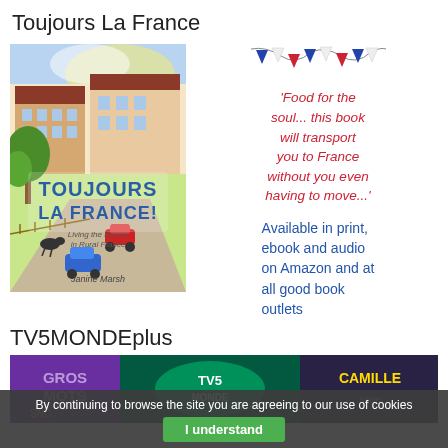Toujours La France
[Figure (illustration): Book cover of 'Toujours La France! Living the Dream in Rural France' by Janine Marsh, showing a colorful illustrated French village scene with buildings, cars, people, trees, and animals.]
[Figure (illustration): Decorative bunting in French flag colors (blue, white, red triangular flags)]
'Food for the soul... this book will transport you to France without you even having to move...'
Available in print, ebook and audio on Amazon and at all good book outlets
TV5MONDEplus
[Figure (screenshot): TV5MONDE plus banner showing programme thumbnails including 'Gros Mots' and 'Camille' shows with TV5MONDE logo]
By continuing to browse the site you are agreeing to our use of cookies
I understand